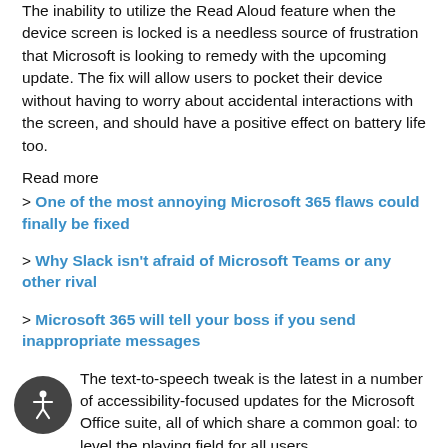The inability to utilize the Read Aloud feature when the device screen is locked is a needless source of frustration that Microsoft is looking to remedy with the upcoming update. The fix will allow users to pocket their device without having to worry about accidental interactions with the screen, and should have a positive effect on battery life too.
Read more
> One of the most annoying Microsoft 365 flaws could finally be fixed
> Why Slack isn't afraid of Microsoft Teams or any other rival
> Microsoft 365 will tell your boss if you send inappropriate messages
The text-to-speech tweak is the latest in a number of accessibility-focused updates for the Microsoft Office suite, all of which share a common goal: to level the playing field for all users.
[Figure (illustration): Circular accessibility icon with a person figure, dark background]